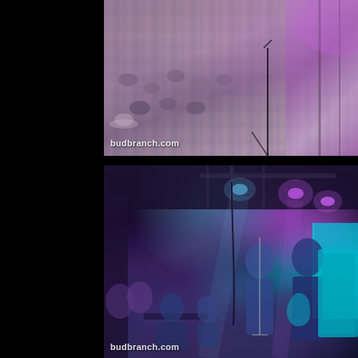[Figure (photo): Aerial view of a large outdoor concert crowd with purple/pink stage lighting on the right side. Watermark reads 'budbranch.com' in lower left.]
[Figure (photo): Band performing on an indoor stage with dramatic purple and teal lighting. Musicians visible including keyboard player in foreground, vocalists/guitarists on stage, and a speaker cabinet on far right. Watermark reads 'budbranch.com' in lower left.]